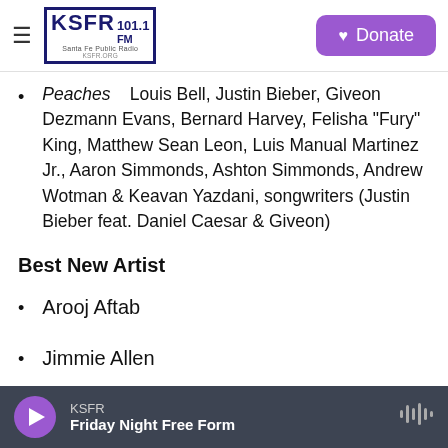KSFR 101.1 FM Santa Fe Public Radio | Donate
Peaches — Louis Bell, Justin Bieber, Giveon Dezmann Evans, Bernard Harvey, Felisha "Fury" King, Matthew Sean Leon, Luis Manual Martinez Jr., Aaron Simmonds, Ashton Simmonds, Andrew Wotman & Keavan Yazdani, songwriters (Justin Bieber feat. Daniel Caesar & Giveon)
Best New Artist
Arooj Aftab
Jimmie Allen
Baby Keem
KSFR — Friday Night Free Form